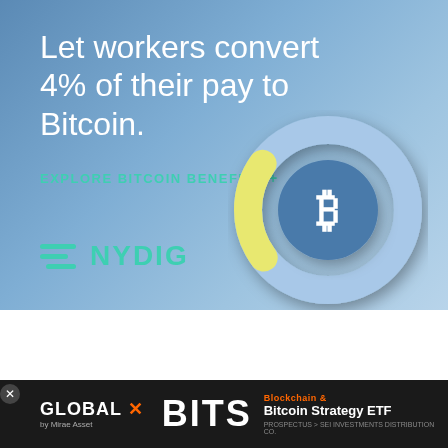[Figure (infographic): NYDIG advertisement banner with blue gradient background, large white text 'Let workers convert 4% of their pay to Bitcoin.', teal 'EXPLORE BITCOIN BENEFITS +' link, donut chart with yellow and light blue segments showing a Bitcoin symbol in center, and NYDIG logo in teal at bottom left.]
[Figure (photo): Dark video thumbnail showing a monument/statue against a cloudy sky, with red buildings on either side. A white circular play button is overlaid in the center. Dots pagination indicator at bottom left. Close button at bottom right.]
[Figure (infographic): Global X advertisement banner with black background. 'GLOBAL X by Mirae Asset' logo in white/orange on left. 'BITS' in large white letters center. 'Blockchain & Bitcoin Strategy ETF' text in orange and white on right. 'PROSPECTUS > SEI INVESTMENTS DISTRIBUTION CO.' in small text at bottom.]